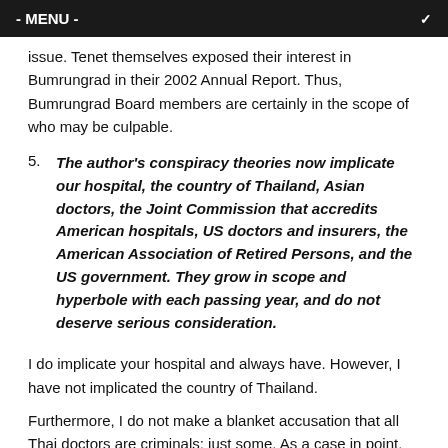- MENU -
issue. Tenet themselves exposed their interest in Bumrungrad in their 2002 Annual Report. Thus, Bumrungrad Board members are certainly in the scope of who may be culpable.
The author's conspiracy theories now implicate our hospital, the country of Thailand, Asian doctors, the Joint Commission that accredits American hospitals, US doctors and insurers, the American Association of Retired Persons, and the US government. They grow in scope and hyperbole with each passing year, and do not deserve serious consideration.
I do implicate your hospital and always have. However, I have not implicated the country of Thailand.
Furthermore, I do not make a blanket accusation that all Thai doctors are criminals: just some. As a case in point, my council and I discovered that many of Bumrungrad's doctors who claimed to be Board Certified and licensed were not at the time of